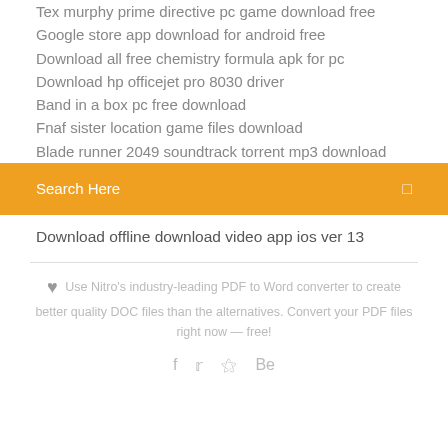Tex murphy prime directive pc game download free
Google store app download for android free
Download all free chemistry formula apk for pc
Download hp officejet pro 8030 driver
Band in a box pc free download
Fnaf sister location game files download
Blade runner 2049 soundtrack torrent mp3 download
Search Here
Download offline download video app ios ver 13
Use Nitro's industry-leading PDF to Word converter to create better quality DOC files than the alternatives. Convert your PDF files right now — free!